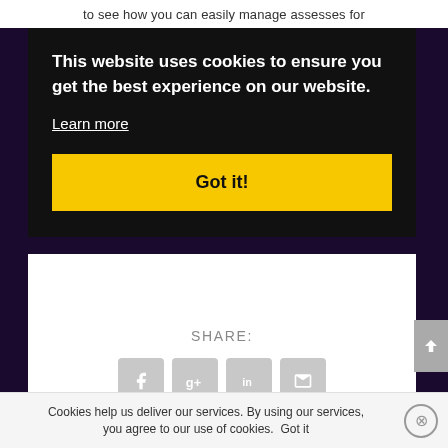to see how you can easily manage assesses for
This website uses cookies to ensure you get the best experience on our website.
Learn more
Got it!
SHARE:
[Figure (screenshot): Social share icons: Facebook (f), Google+ (g+), LinkedIn (in), Email (envelope)]
RATE:
[Figure (screenshot): Five partially visible star/circle rating buttons]
Cookies help us deliver our services. By using our services, you agree to our use of cookies.
Got it